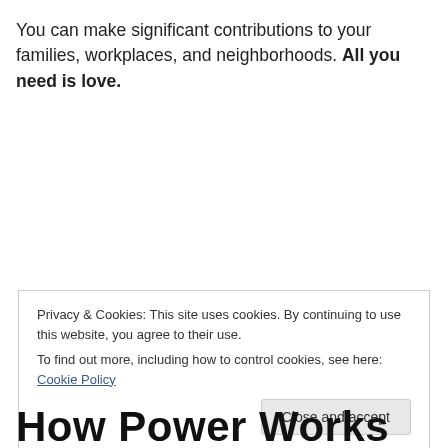You can make significant contributions to your families, workplaces, and neighborhoods. All you need is love.
Privacy & Cookies: This site uses cookies. By continuing to use this website, you agree to their use. To find out more, including how to control cookies, see here: Cookie Policy
How Power Works